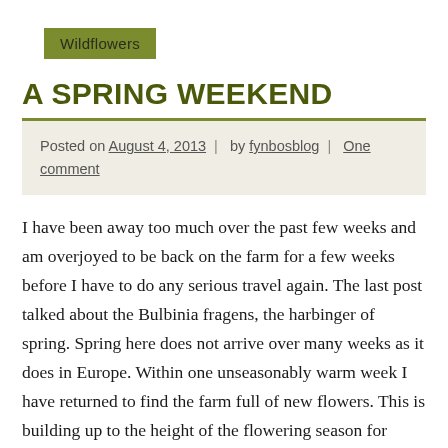Wildflowers
A SPRING WEEKEND
Posted on August 4, 2013  |  by fynbosblog  |  One comment
I have been away too much over the past few weeks and am overjoyed to be back on the farm for a few weeks before I have to do any serious travel again. The last post talked about the Bulbinia fragens, the harbinger of spring. Spring here does not arrive over many weeks as it does in Europe. Within one unseasonably warm week I have returned to find the farm full of new flowers. This is building up to the height of the flowering season for Fynbos and the next few months are going to see an explosion of life. I'm already